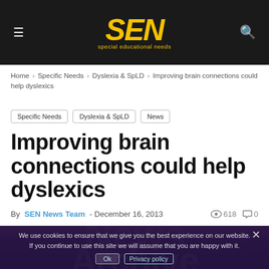SEN – special educational needs
Home > Specific Needs > Dyslexia & SpLD > Improving brain connections could help dyslexics
Specific Needs
Dyslexia & SpLD
News
Improving brain connections could help dyslexics
By SEN News Team - December 16, 2013  618  0
[Figure (photo): Purple/dark gradient hero image with 'News Archive' watermark text overlaid, partially covered by a cookie consent banner reading: We use cookies to ensure that we give you the best experience on our website. If you continue to use this site we will assume that you are happy with it. [Ok] [Privacy policy]]